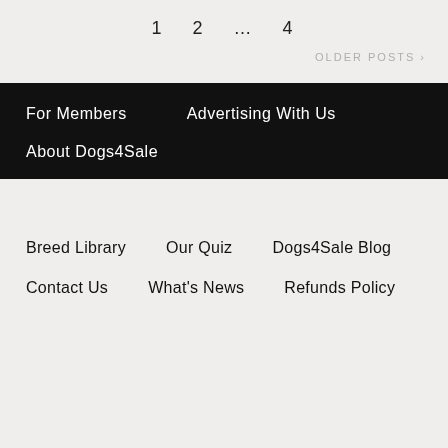1  2  ...  4
OLDER POSTS >
For Members
Advertising With Us
About Dogs4Sale
Breed Library
Our Quiz
Dogs4Sale Blog
Contact Us
What's News
Refunds Policy